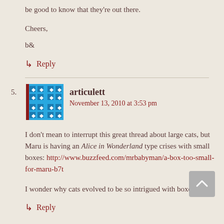be good to know that they're out there.
Cheers,
b&
↳ Reply
5. articulett
November 13, 2010 at 3:53 pm
I don't mean to interrupt this great thread about large cats, but Maru is having an Alice in Wonderland type crises with small boxes: http://www.buzzfeed.com/mrbabyman/a-box-too-small-for-maru-b7t
I wonder why cats evolved to be so intrigued with boxes?
↳ Reply